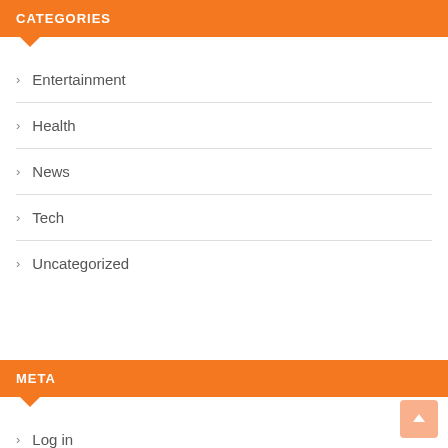CATEGORIES
Entertainment
Health
News
Tech
Uncategorized
META
Log in